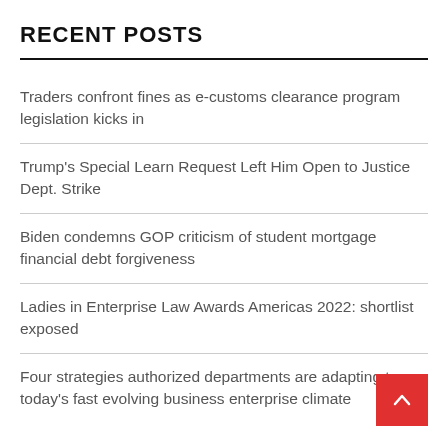RECENT POSTS
Traders confront fines as e-customs clearance program legislation kicks in
Trump's Special Learn Request Left Him Open to Justice Dept. Strike
Biden condemns GOP criticism of student mortgage financial debt forgiveness
Ladies in Enterprise Law Awards Americas 2022: shortlist exposed
Four strategies authorized departments are adapting to today's fast evolving business enterprise climate